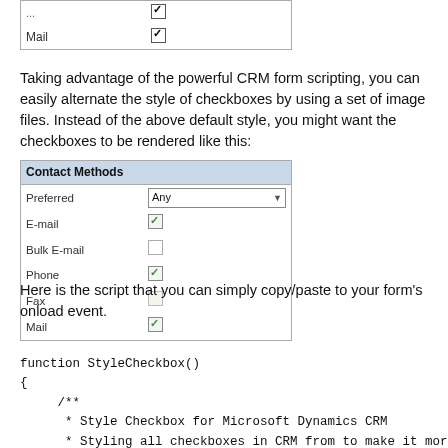[Figure (screenshot): Partial CRM form showing Mail row with standard checkbox checked]
Taking advantage of the powerful CRM form scripting, you can easily alternate the style of checkboxes by using a set of image files. Instead of the above default style, you might want the checkboxes to be rendered like this:
[Figure (screenshot): Contact Methods form with custom-styled checkboxes. Fields: Preferred (Any dropdown), E-mail (checked), Bulk E-mail (unchecked), Phone (checked), Fax (unchecked/faded), Mail (checked)]
Here is the script that you can simply copy/paste to your form's onload event.